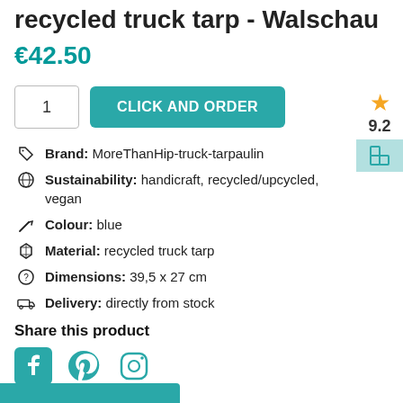recycled truck tarp - Walschau
€42.50
1  CLICK AND ORDER
Brand: MoreThanHip-truck-tarpaulin
Sustainability: handicraft, recycled/upcycled, vegan
Colour: blue
Material: recycled truck tarp
Dimensions: 39,5 x 27 cm
Delivery: directly from stock
Share this product